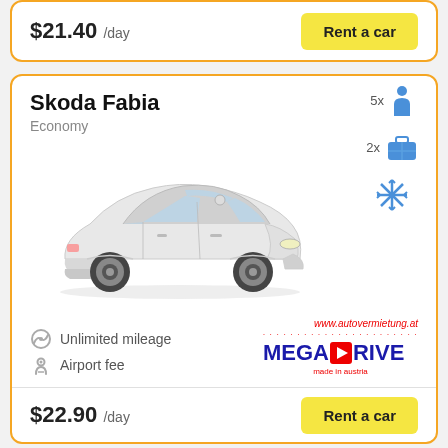$21.40 /day
Rent a car
Skoda Fabia
Economy
[Figure (photo): White Skoda Fabia hatchback car viewed from front-left angle]
5x passengers, 2x luggage, air conditioning icons
Unlimited mileage
Airport fee
[Figure (logo): MegaDrive / www.autovermietung.at brand logo]
$22.90 /day
Rent a car